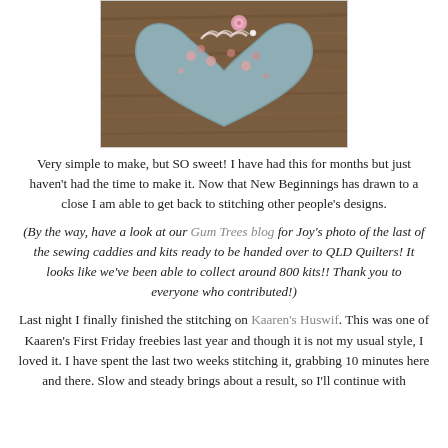[Figure (photo): A fabric heart cushion in blue-grey with pink rose pattern and lace trim, lying on a wooden surface]
Very simple to make, but SO sweet! I have had this for months but just haven't had the time to make it. Now that New Beginnings has drawn to a close I am able to get back to stitching other people's designs.
(By the way, have a look at our Gum Trees blog for Joy's photo of the last of the sewing caddies and kits ready to be handed over to QLD Quilters! It looks like we've been able to collect around 800 kits!! Thank you to everyone who contributed!)
Last night I finally finished the stitching on Kaaren's Huswif. This was one of Kaaren's First Friday freebies last year and though it is not my usual style, I loved it. I have spent the last two weeks stitching it, grabbing 10 minutes here and there. Slow and steady brings about a result, so I'll continue with